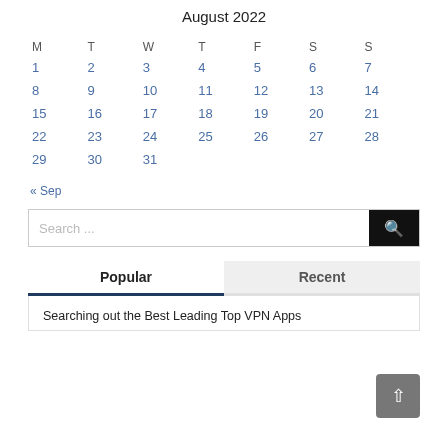August 2022
| M | T | W | T | F | S | S |
| --- | --- | --- | --- | --- | --- | --- |
| 1 | 2 | 3 | 4 | 5 | 6 | 7 |
| 8 | 9 | 10 | 11 | 12 | 13 | 14 |
| 15 | 16 | 17 | 18 | 19 | 20 | 21 |
| 22 | 23 | 24 | 25 | 26 | 27 | 28 |
| 29 | 30 | 31 |  |  |  |  |
« Sep
Search ...
Popular
Recent
Searching out the Best Leading Top VPN Apps